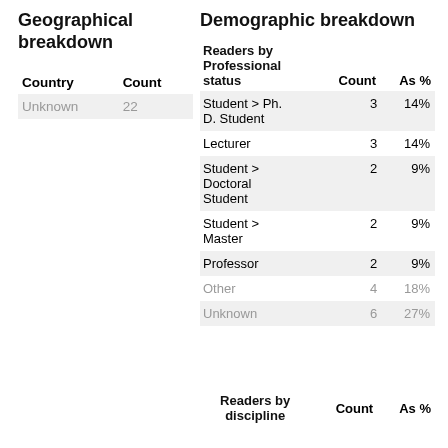Geographical breakdown
Demographic breakdown
| Country | Count | As % |
| --- | --- | --- |
| Unknown | 22 | 100% |
| Readers by Professional status | Count | As % |
| --- | --- | --- |
| Student > Ph. D. Student | 3 | 14% |
| Lecturer | 3 | 14% |
| Student > Doctoral Student | 2 | 9% |
| Student > Master | 2 | 9% |
| Professor | 2 | 9% |
| Other | 4 | 18% |
| Unknown | 6 | 27% |
| Readers by discipline | Count | As % |
| --- | --- | --- |